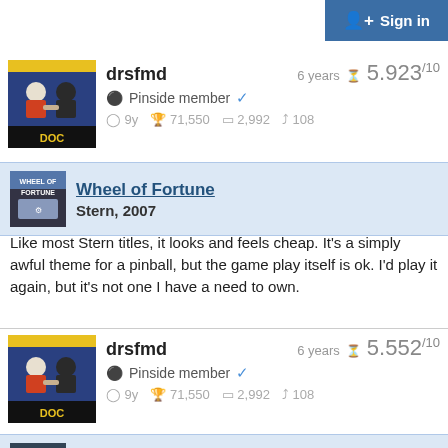Sign in
drsfmd   6 years   5.923/10
♟ Pinside member ✓
⊙ 9y  🏆71,550  🗎 2,992  ↗108
[Figure (photo): User avatar photo showing wrestlers/boxers, with 'DOC' text at bottom, dark frame]
Wheel of Fortune
Stern, 2007
[Figure (photo): Wheel of Fortune pinball game thumbnail]
Like most Stern titles, it looks and feels cheap. It's a simply awful theme for a pinball, but the game play itself is ok. I'd play it again, but it's not one I have a need to own.
drsfmd   6 years   5.552/10
♟ Pinside member ✓
⊙ 9y  🏆71,550  🗎 2,992  ↗108
[Figure (photo): User avatar photo showing wrestlers/boxers, with 'DOC' text at bottom, dark frame]
Space Shuttle
Williams, 1984
[Figure (photo): Space Shuttle pinball game thumbnail]